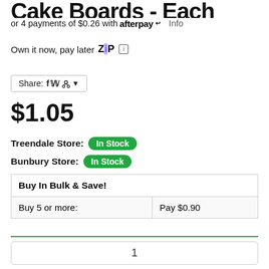Cake Boards - Each
or 4 payments of $0.26 with afterpay Info
Own it now, pay later zip
Share:
$1.05
Treendale Store: In Stock
Bunbury Store: In Stock
| Buy In Bulk & Save! |
| --- |
| Buy 5 or more: | Pay $0.90 |
1
Add to Cart